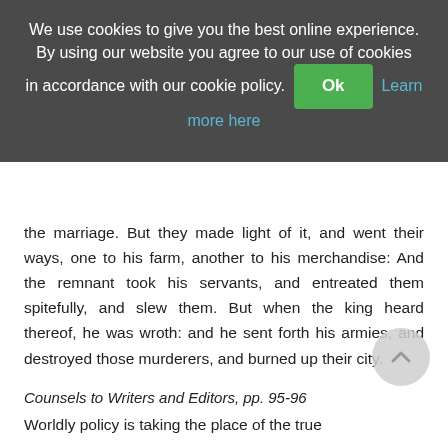We use cookies to give you the best online experience. By using our website you agree to our use of cookies in accordance with our cookie policy. Ok Learn more here
the marriage. But they made light of it, and went their ways, one to his farm, another to his merchandise: And the remnant took his servants, and entreated them spitefully, and slew them. But when the king heard thereof, he was wroth: and he sent forth his armies, and destroyed those murderers, and burned up their city.
Counsels to Writers and Editors, pp. 95-96
Worldly policy is taking the place of the true